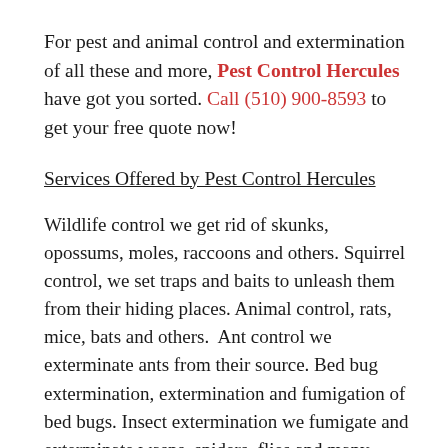For pest and animal control and extermination of all these and more, Pest Control Hercules have got you sorted. Call (510) 900-8593 to get your free quote now!
Services Offered by Pest Control Hercules
Wildlife control we get rid of skunks, opossums, moles, raccoons and others. Squirrel control, we set traps and baits to unleash them from their hiding places. Animal control, rats, mice, bats and others. Ant control we exterminate ants from their source. Bed bug extermination, extermination and fumigation of bed bugs. Insect extermination we fumigate and exterminate wasps, spiders, flies and many other insects. Rat removal – we set traps and baits to catch them. We also use methods...